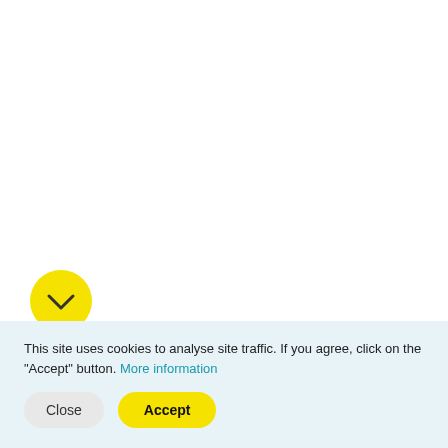[Figure (illustration): Yellow circle with a downward chevron/arrow icon in the center, used as a scroll-down or expand button.]
EVENTS — BIOCEV
12.11.2019
Open Doors Day - Institute of Biotechnology CAS
This site uses cookies to analyse site traffic. If you agree, click on the "Accept" button. More information
Close
Accept